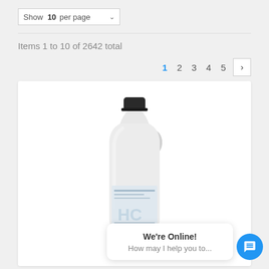Show 10 per page
Items 1 to 10 of 2642 total
1 2 3 4 5 >
[Figure (photo): A large white plastic jug/bottle with a black cap and a label, shown on a white background inside a product card.]
We're Online! How may I help you to...